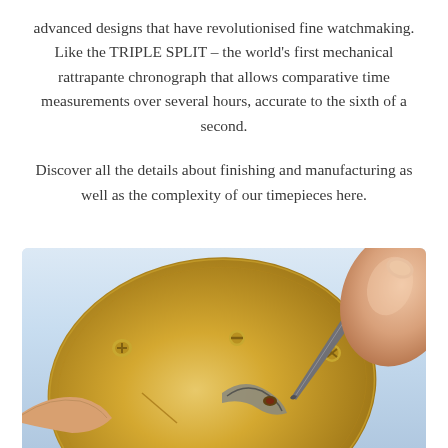advanced designs that have revolutionised fine watchmaking. Like the TRIPLE SPLIT – the world's first mechanical rattrapante chronograph that allows comparative time measurements over several hours, accurate to the sixth of a second.
Discover all the details about finishing and manufacturing as well as the complexity of our timepieces here.
[Figure (photo): Close-up photograph of a watchmaker's hand using a tool to work on a gold/brass watch movement plate with screws and mechanical components visible.]